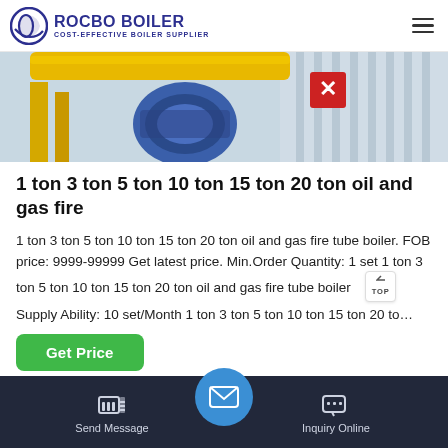ROCBO BOILER — COST-EFFECTIVE BOILER SUPPLIER
[Figure (photo): Close-up photo of industrial boiler components including yellow pipes and blue machinery]
1 ton 3 ton 5 ton 10 ton 15 ton 20 ton oil and gas fire
1 ton 3 ton 5 ton 10 ton 15 ton 20 ton oil and gas fire tube boiler. FOB price: 9999-99999 Get latest price. Min.Order Quantity: 1 set 1 ton 3 ton 5 ton 10 ton 15 ton 20 ton oil and gas fire tube boiler Supply Ability: 10 set/Month 1 ton 3 ton 5 ton 10 ton 15 ton 20 to…
Send Message    Inquiry Online